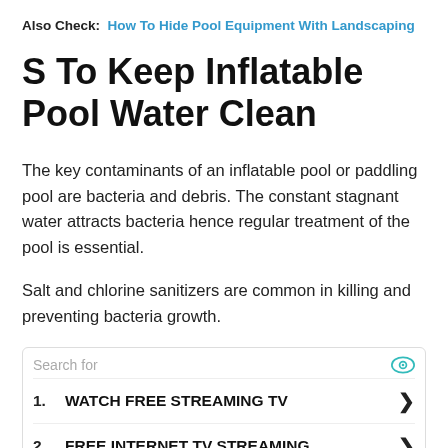Also Check:  How To Hide Pool Equipment With Landscaping
S To Keep Inflatable Pool Water Clean
The key contaminants of an inflatable pool or paddling pool are bacteria and debris. The constant stagnant water attracts bacteria hence regular treatment of the pool is essential.
Salt and chlorine sanitizers are common in killing and preventing bacteria growth.
Search for
1. WATCH FREE STREAMING TV
2. FREE INTERNET TV STREAMING
Ad | Business Focus